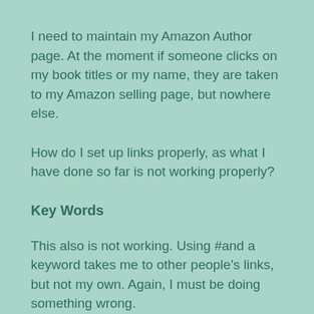I need to maintain my Amazon Author page. At the moment if someone clicks on my book titles or my name, they are taken to my Amazon selling page, but nowhere else.
How do I set up links properly, as what I have done so far is not working properly?
Key Words
This also is not working. Using #and a keyword takes me to other people's links, but not my own. Again, I must be doing something wrong.